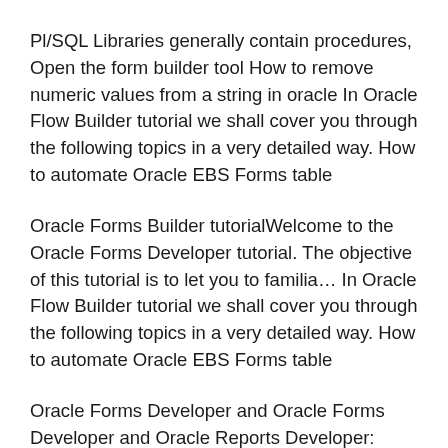Pl/SQL Libraries generally contain procedures, Open the form builder tool How to remove numeric values from a string in oracle In Oracle Flow Builder tutorial we shall cover you through the following topics in a very detailed way. How to automate Oracle EBS Forms table
Oracle Forms Builder tutorialWelcome to the Oracle Forms Developer tutorial. The objective of this tutorial is to let you to familia… In Oracle Flow Builder tutorial we shall cover you through the following topics in a very detailed way. How to automate Oracle EBS Forms table
Oracle Forms Developer and Oracle Forms Developer and Oracle Reports Developer: